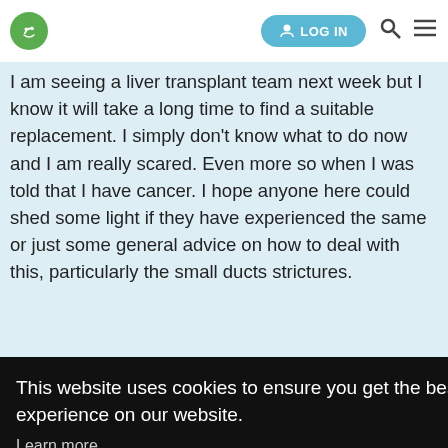LOG IN [navigation bar with logo, login button, search icon, menu icon]
I am seeing a liver transplant team next week but I know it will take a long time to find a suitable replacement. I simply don't know what to do now and I am really scared. Even more so when I was told that I have cancer. I hope anyone here could shed some light if they have experienced the same or just some general advice on how to deal with this, particularly the small ducts strictures.
Here is my current liver enzymes, if it helps:
ALT 150; ALP 370; Bili 45; GGT 301; AST 160
This website uses cookies to ensure you get the best experience on our website.
Learn more
Got it!